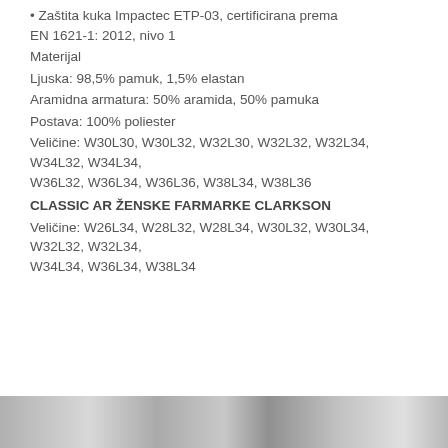• Zaštita kuka Impactec ETP-03, certificirana prema EN 1621-1: 2012, nivo 1
Materijal
Ljuska: 98,5% pamuk, 1,5% elastan
Aramidna armatura: 50% aramida, 50% pamuka
Postava: 100% poliester
Veličine: W30L30, W30L32, W32L30, W32L32, W32L34, W34L32, W34L34, W36L32, W36L34, W36L36, W38L34, W38L36
CLASSIC AR ŽENSKE FARMARKE CLARKSON
Veličine: W26L34, W28L32, W28L34, W30L32, W30L34, W32L32, W32L34, W34L34, W36L34, W38L34
[Figure (photo): Partial photo of clothing product at bottom of page]